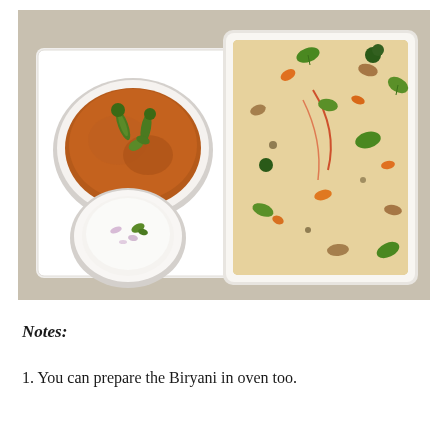[Figure (photo): A food photograph showing a white serving tray with a bowl of curry (brown gravy with green chilies and cilantro), a small bowl of raita (yogurt with onions and herbs), and a large square white dish filled with biryani rice garnished with fresh mint leaves and saffron strands, placed on a gray tablecloth.]
Notes:
1. You can prepare the Biryani in oven too.